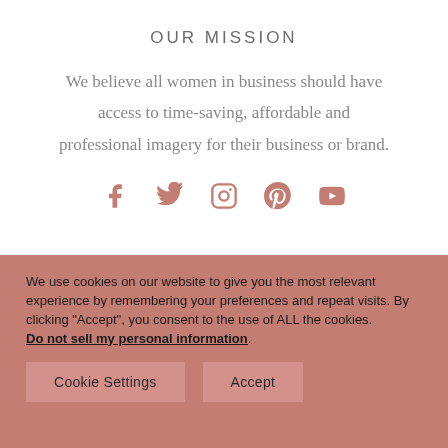OUR MISSION
We believe all women in business should have access to time-saving, affordable and professional imagery for their business or brand.
[Figure (infographic): Social media icons: Facebook, Twitter, Instagram, Pinterest, YouTube — rendered in dusty rose/terracotta color]
We use cookies on our website to give you the most relevant experience by remembering your preferences and repeat visits. By clicking “Accept”, you consent to the use of ALL the cookies.
Do not sell my personal information.
Cookie Settings   Accept